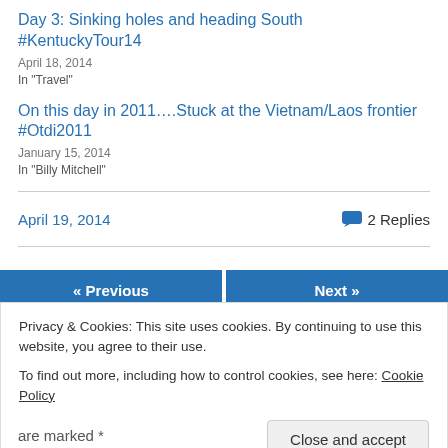Day 3: Sinking holes and heading South #KentuckyTour14
April 18, 2014
In "Travel"
On this day in 2011….Stuck at the Vietnam/Laos frontier #Otdi2011
January 15, 2014
In "Billy Mitchell"
April 19, 2014   2 Replies
[Figure (screenshot): Navigation bar with Previous and Next buttons in blue]
Privacy & Cookies: This site uses cookies. By continuing to use this website, you agree to their use.
To find out more, including how to control cookies, see here: Cookie Policy
Close and accept
are marked *